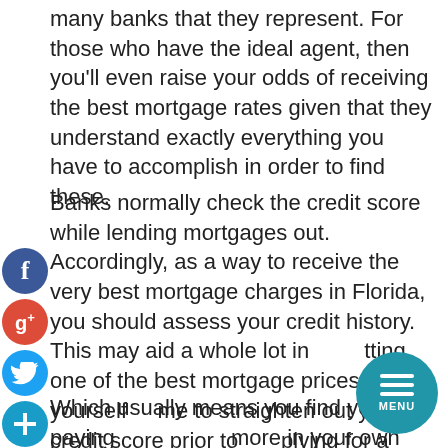many banks that they represent. For those who have the ideal agent, then you'll even raise your odds of receiving the best mortgage rates given that they understand exactly everything you have to accomplish in order to find these.
Banks normally check the credit score while lending mortgages out. Accordingly, as a way to receive the very best mortgage charges in Florida, you should assess your credit history. This may aid a whole lot in getting one of the best mortgage prices. Give yourself time to straighten out your credit score prior to applying for a loan. The reason being if your credit score is low then your rates charged in your loan is going to soon be higher compared to usual.
Which usually means you find yourself paying more in your own house when compared with the original price. It's also advisable to devote some of the